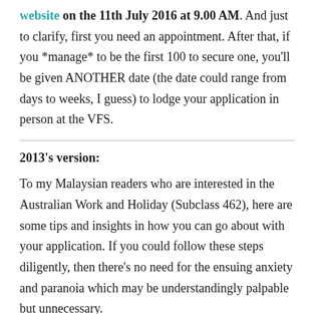website on the 11th July 2016 at 9.00 AM. And just to clarify, first you need an appointment. After that, if you *manage* to be the first 100 to secure one, you'll be given ANOTHER date (the date could range from days to weeks, I guess) to lodge your application in person at the VFS.
2013's version:
To my Malaysian readers who are interested in the Australian Work and Holiday (Subclass 462), here are some tips and insights in how you can go about with your application. If you could follow these steps diligently, then there's no need for the ensuing anxiety and paranoia which may be understandingly palpable but unnecessary.